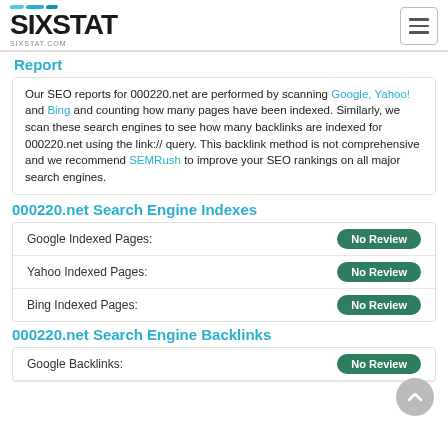SIXSTAT — sixstat.com
Report
Our SEO reports for 000220.net are performed by scanning Google, Yahoo! and Bing and counting how many pages have been indexed. Similarly, we scan these search engines to see how many backlinks are indexed for 000220.net using the link:// query. This backlink method is not comprehensive and we recommend SEMRush to improve your SEO rankings on all major search engines.
000220.net Search Engine Indexes
|  |  |
| --- | --- |
| Google Indexed Pages: | No Review |
| Yahoo Indexed Pages: | No Review |
| Bing Indexed Pages: | No Review |
000220.net Search Engine Backlinks
|  |  |
| --- | --- |
| Google Backlinks: | No Review |